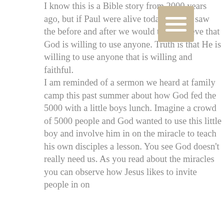I know this is a Bible story from 2000 years ago, but if Paul were alive today and we saw the before and after we would truly believe that God is willing to use anyone. Truth is that He is willing to use anyone that is willing and faithful. I am reminded of a sermon we heard at family camp this past summer about how God fed the 5000 with a little boys lunch. Imagine a crowd of 5000 people and God wanted to use this little boy and involve him in on the miracle to teach his own disciples a lesson. You see God doesn't really need us. As you read about the miracles you can observe how Jesus likes to invite people in on...
[Figure (other): Hamburger menu icon — three horizontal white lines on a tan/beige square background]